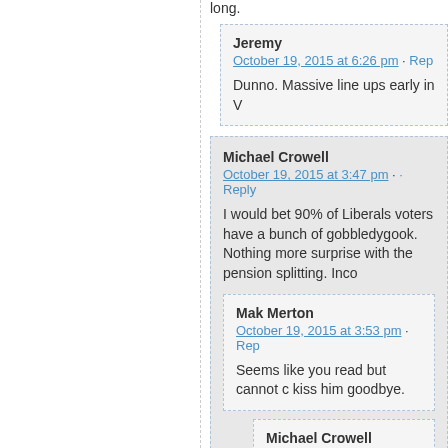long.
Jeremy
October 19, 2015 at 6:26 pm · Reply
Dunno. Massive line ups early in V
Michael Crowell
October 19, 2015 at 3:47 pm · Reply
I would bet 90% of Liberals voters have a bunch of gobbledygook. Nothing more surprise with the pension splitting. Inco
Mak Merton
October 19, 2015 at 3:53 pm · Rep
Seems like you read but cannot c kiss him goodbye.
Michael Crowell
October 19, 2015 at 6:57 pm
Prove me wrong.